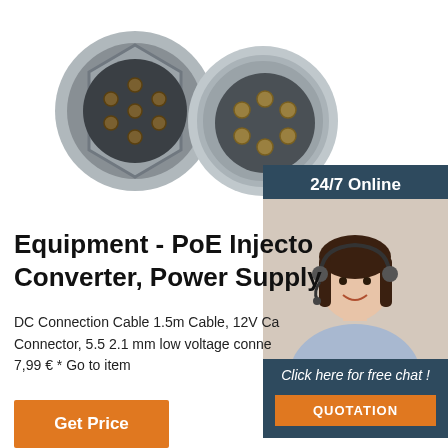[Figure (photo): Two circular metal electrical connectors - one showing pins and one showing sockets, silver/grey metallic color]
[Figure (photo): 24/7 Online customer service representative - woman with headset smiling]
Equipment - PoE Injecto Converter, Power Supply
DC Connection Cable 1.5m Cable, 12V Ca Connector, 5.5 2.1 mm low voltage conne 7,99 € * Go to item
Get Price